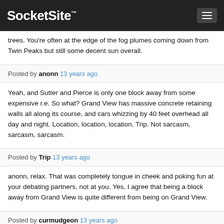SocketSite™
trees. You're often at the edge of the fog plumes coming down from Twin Peaks but still some decent sun overall.
Posted by anonn 13 years ago
Yeah, and Sutter and Pierce is only one block away from some expensive r.e. So what? Grand View has massive concrete retaining walls all along its course, and cars whizzing by 40 feet overhead all day and night. Location, location, location, Trip. Not sarcasm, sarcasm, sarcasm.
Posted by Trip 13 years ago
anonn, relax. That was completely tongue in cheek and poking fun at your debating partners, not at you. Yes, I agree that being a block away from Grand View is quite different from being on Grand View.
Posted by curmudgeon 13 years ago
Only one extraneous comment. A two car (that is two entrance) garage is tacky and wasteful in SF, and IMHO should not be allowed. I'm assuming they also put that much curb-cut in, and thus blew out the opportunity for adjoining neighbors to park on the